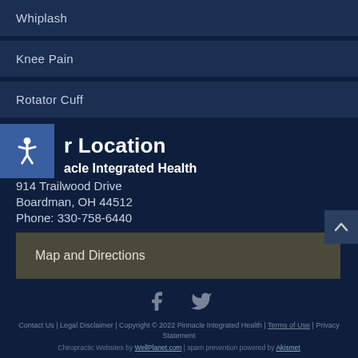Whiplash
Knee Pain
Rotator Cuff
Our Location
Pinnacle Integrated Health
914 Trailwood Drive
Boardman, OH 44512
Phone: 330-758-6440
Map and Directions
Contact Us | Legal Disclaimer | Copyright © 2022 Pinnacle Integrated Health | Terms of Use | Privacy Statement
Chiropractic Websites by WellPlanet.com | spam prevention powered by Akismet